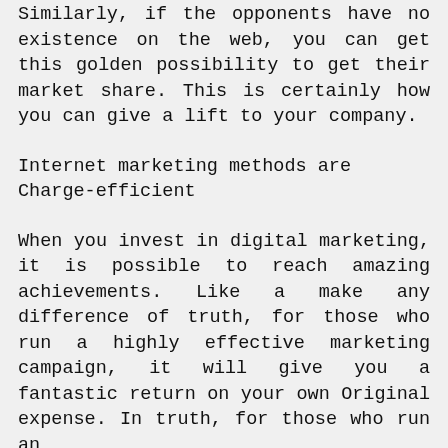Similarly, if the opponents have no existence on the web, you can get this golden possibility to get their market share. This is certainly how you can give a lift to your company.
Internet marketing methods are Charge-efficient
When you invest in digital marketing, it is possible to reach amazing achievements. Like a make any difference of truth, for those who run a highly effective marketing campaign, it will give you a fantastic return on your own Original expense. In truth, for those who run an